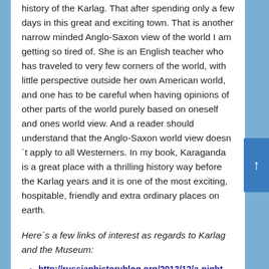history of the Karlag. That after spending only a few days in this great and exciting town. That is another narrow minded Anglo-Saxon view of the world I am getting so tired of. She is an English teacher who has traveled to very few corners of the world, with little perspective outside her own American world, and one has to be careful when having opinions of other parts of the world purely based on oneself and ones world view. And a reader should understand that the Anglo-Saxon world view doesn´t apply to all Westerners. In my book, Karaganda is a great place with a thrilling history way before the Karlag years and it is one of the most exciting, hospitable, friendly and extra ordinary places on earth.
Here´s a few links of interest as regards to Karlag and the Museum:
http://russianhistoryblog.org/2013/12/a-night-in-karlag/
https://onesteppeatatime.wordpress.com/2012/05/